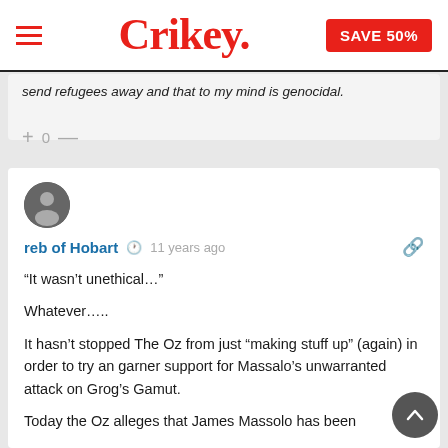Crikey. SAVE 50%
send refugees away and that to my mind is genocidal.
+ 0 —
reb of Hobart  11 years ago
“It wasn’t unethical…”

Whatever…..

It hasn’t stopped The Oz from just “making stuff up” (again) in order to try an garner support for Massalo’s unwarranted attack on Grog’s Gamut.

Today the Oz alleges that James Massolo has been